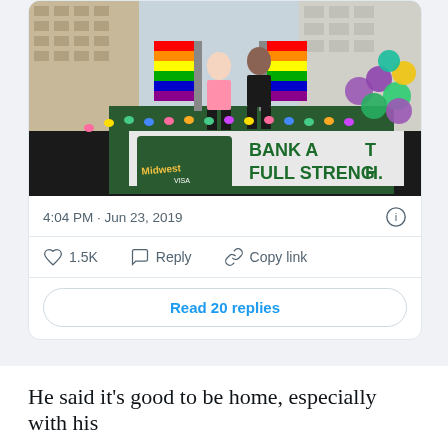[Figure (photo): Two people standing on a Pride parade float decorated with rainbow flags, colorful flower garlands, and balloons. A banner reads 'BANK AT FULL STRENGTH.' with a Visa credit card graphic. Buildings visible in background.]
4:04 PM · Jun 23, 2019
1.5K   Reply   Copy link
Read 20 replies
He said it's good to be home, especially with his